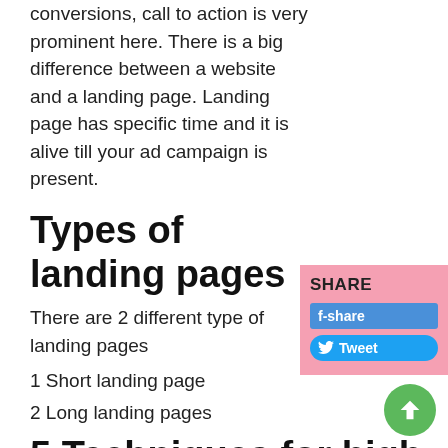conversions, call to action is very prominent here. There is a big difference between a website and a landing page. Landing page has specific time and it is alive till your ad campaign is present.
Types of landing pages
There are 2 different type of landing pages
1 Short landing page
2 Long landing pages
5 Techniques for high converting landing page design
1 Do not direct the visitors to your website, instead make a very clear landing page to